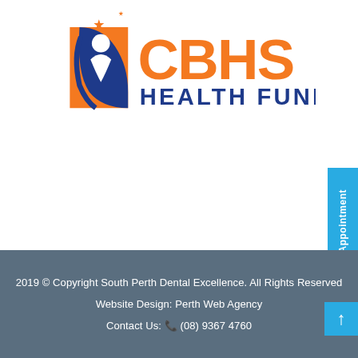[Figure (logo): CBHS Health Fund logo with orange and blue shield figure and orange/blue text]
Book Your Appointment
2019 © Copyright South Perth Dental Excellence. All Rights Reserved
Website Design: Perth Web Agency
Contact Us: (08) 9367 4760